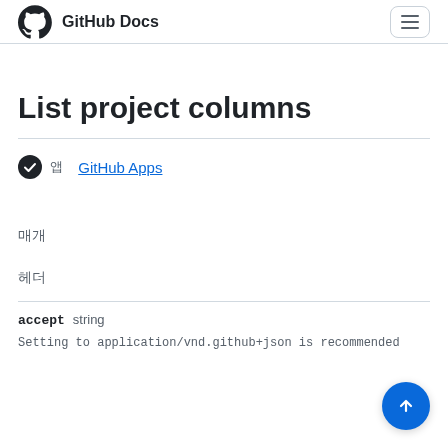GitHub Docs
List project columns
✓ 앱 GitHub Apps
매개
헤더
accept  string
Setting to application/vnd.github+json is recommended